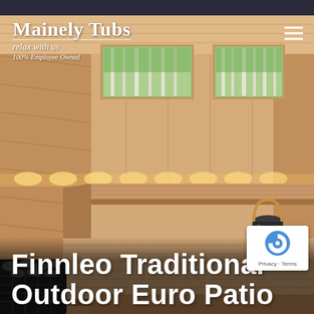[Figure (photo): Interior of a traditional Finnish sauna with light wood paneling on walls and tiered benches, warm amber LED strip lighting along the upper bench, two rectangular windows showing a birch forest painting/view, a dark metal sauna bucket with wooden handle on the right bench, and a sauna heater with stones visible in the lower left corner.]
Mainely Tubs
relax with us
100% Employee Owned
Finnleo Traditional
Outdoor Euro Patio